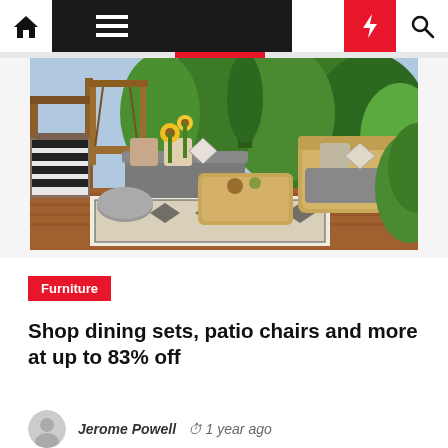Navigation bar with home, menu, moon, lightning, search icons
[Figure (photo): Outdoor patio scene with wicker furniture, decorative pillows, a coffee table, patterned rug, wooden swing, sunflowers, and lush green trees in the background]
Furniture
Shop dining sets, patio chairs and more at up to 83% off
Jerome Powell  1 year ago